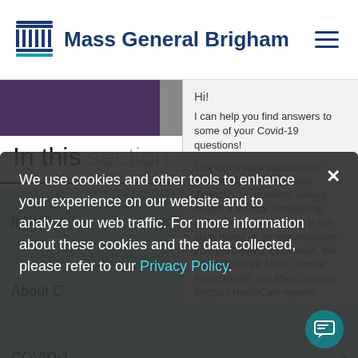Mass General Brigham
[Figure (screenshot): Mass General Brigham website screenshot showing 'In this section' heading, teal navigation rows for COVID-19 content, a chatbot popup saying 'Hi! I can help you find answers to some of your Covid-19 questions!' with a disclaimer, and a cookie consent overlay reading 'We use cookies and other tools to enhance your experience on our website and to analyze our web traffic. For more information about these cookies and the data collected, please refer to our Privacy Policy.']
Hi!
I can help you find answers to some of your Covid-19 questions!
This tool is not a substitute for professional medical advice, diagnosis, or treatment. Always consult a medical professional when needed. Information in this aid is based on recommendations from the Centers for Disease, the About Covid-19, Mass General Public Health, and Mass General Brigham HealthCare experts.
In this section
If You're Concerned
About COVID-19
COVID-19 Vaccines
We use cookies and other tools to enhance your experience on our website and to analyze our web traffic. For more information about these cookies and the data collected, please refer to our Privacy Policy.